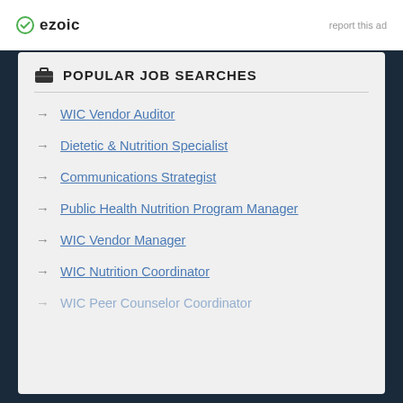[Figure (logo): Ezoic logo with green checkmark circle and bold 'ezoic' text]
report this ad
POPULAR JOB SEARCHES
WIC Vendor Auditor
Dietetic & Nutrition Specialist
Communications Strategist
Public Health Nutrition Program Manager
WIC Vendor Manager
WIC Nutrition Coordinator
WIC Peer Counselor Coordinator